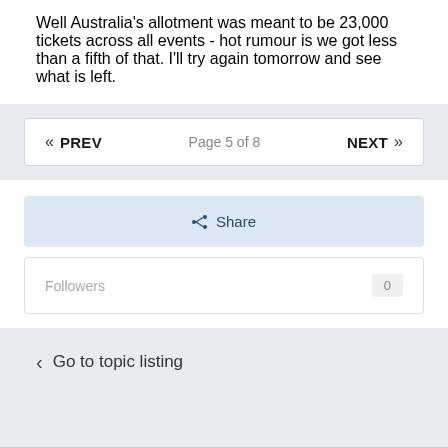Well Australia's allotment was meant to be 23,000 tickets across all events - hot rumour is we got less than a fifth of that. I'll try again tomorrow and see what is left.
« PREV   Page 5 of 8   NEXT »
Share
Followers  0
< Go to topic listing